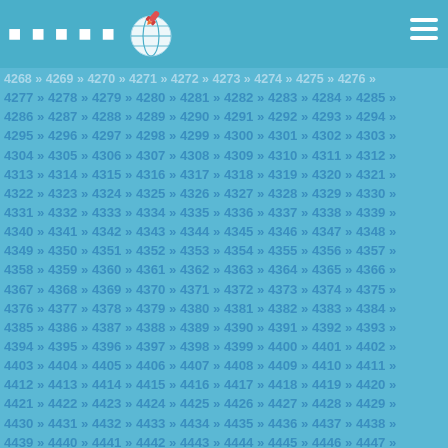□□□□□ [globe icon]
4268 » 4269 » 4270 » 4271 » 4272 » 4273 » 4274 » 4275 » 4276 » 4277 » 4278 » 4279 » 4280 » 4281 » 4282 » 4283 » 4284 » 4285 » 4286 » 4287 » 4288 » 4289 » 4290 » 4291 » 4292 » 4293 » 4294 » 4295 » 4296 » 4297 » 4298 » 4299 » 4300 » 4301 » 4302 » 4303 » 4304 » 4305 » 4306 » 4307 » 4308 » 4309 » 4310 » 4311 » 4312 » 4313 » 4314 » 4315 » 4316 » 4317 » 4318 » 4319 » 4320 » 4321 » 4322 » 4323 » 4324 » 4325 » 4326 » 4327 » 4328 » 4329 » 4330 » 4331 » 4332 » 4333 » 4334 » 4335 » 4336 » 4337 » 4338 » 4339 » 4340 » 4341 » 4342 » 4343 » 4344 » 4345 » 4346 » 4347 » 4348 » 4349 » 4350 » 4351 » 4352 » 4353 » 4354 » 4355 » 4356 » 4357 » 4358 » 4359 » 4360 » 4361 » 4362 » 4363 » 4364 » 4365 » 4366 » 4367 » 4368 » 4369 » 4370 » 4371 » 4372 » 4373 » 4374 » 4375 » 4376 » 4377 » 4378 » 4379 » 4380 » 4381 » 4382 » 4383 » 4384 » 4385 » 4386 » 4387 » 4388 » 4389 » 4390 » 4391 » 4392 » 4393 » 4394 » 4395 » 4396 » 4397 » 4398 » 4399 » 4400 » 4401 » 4402 » 4403 » 4404 » 4405 » 4406 » 4407 » 4408 » 4409 » 4410 » 4411 » 4412 » 4413 » 4414 » 4415 » 4416 » 4417 » 4418 » 4419 » 4420 » 4421 » 4422 » 4423 » 4424 » 4425 » 4426 » 4427 » 4428 » 4429 » 4430 » 4431 » 4432 » 4433 » 4434 » 4435 » 4436 » 4437 » 4438 » 4439 » 4440 » 4441 » 4442 » 4443 » 4444 » 4445 » 4446 » 4447 » 4448 » 4449 » 4450 » 4451 » 4452 » 4453 » 4454 » 4455 » 4456 » 4457 » 4458 » 4459 » 4460 » 4461 » 4462 » 4463 » 4464